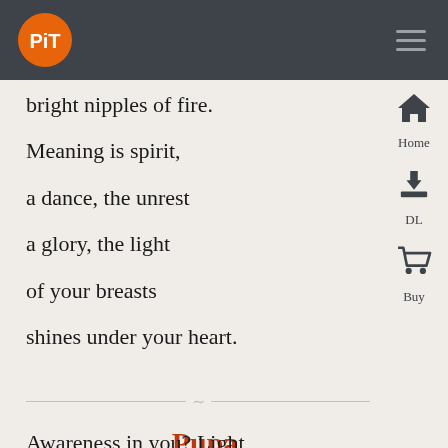PiT logo and navigation bar
bright nipples of fire.
Meaning is spirit,
a dance, the unrest
a glory, the light
of your breasts
shines under your heart.
Pupa
Awareness in you? Light,